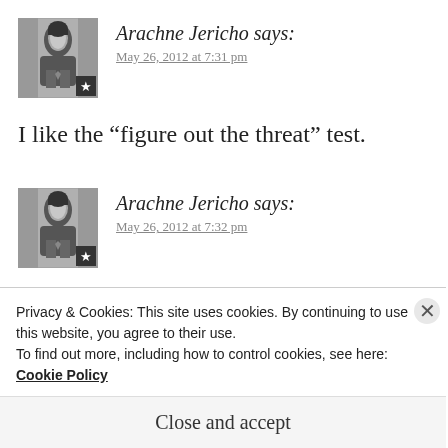[Figure (photo): Black and white avatar photo of Arachne Jericho with a star badge overlay, first comment]
Arachne Jericho says:
May 26, 2012 at 7:31 pm
I like the “figure out the threat” test.
[Figure (photo): Black and white avatar photo of Arachne Jericho with a star badge overlay, second comment]
Arachne Jericho says:
May 26, 2012 at 7:32 pm
Eye test. Ah, they all failed. Good, they seemed
Privacy & Cookies: This site uses cookies. By continuing to use this website, you agree to their use.
To find out more, including how to control cookies, see here: Cookie Policy
Close and accept